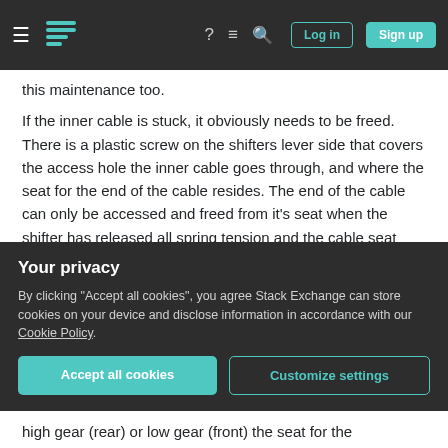Stack Exchange navigation bar with hamburger menu, logo, question mark, chat, search icons, Log in and Sign up buttons
this maintenance too.
If the inner cable is stuck, it obviously needs to be freed. There is a plastic screw on the shifters lever side that covers the access hole the inner cable goes through, and where the seat for the end of the cable resides. The end of the cable can only be accessed and freed from it's seat when the shifter has released all spring tension and the cable seat lines up with the access hole. The shifter must be in the highest gear--the position where all spring tension is released and where the derailleur would
Your privacy
By clicking "Accept all cookies", you agree Stack Exchange can store cookies on your device and disclose information in accordance with our Cookie Policy.
Accept all cookies   Customize settings
high gear (rear) or low gear (front) the seat for the